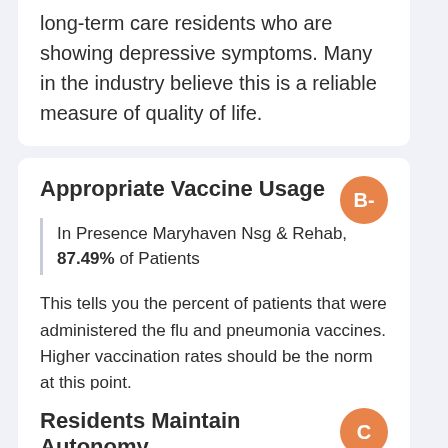long-term care residents who are showing depressive symptoms. Many in the industry believe this is a reliable measure of quality of life.
Appropriate Vaccine Usage
In Presence Maryhaven Nsg & Rehab, 87.49% of Patients
This tells you the percent of patients that were administered the flu and pneumonia vaccines. Higher vaccination rates should be the norm at this point.
Residents Maintain Autonomy